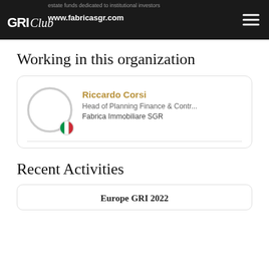estate funds dedicated to institutional investors
www.fabricasgr.com
Working in this organization
[Figure (other): Profile card for Riccardo Corsi with circular avatar placeholder, Italian flag badge, name in gold, role 'Head of Planning Finance & Contr...', organization 'Fabrica Immobiliare SGR']
Riccardo Corsi
Head of Planning Finance & Contr...
Fabrica Immobiliare SGR
Recent Activities
Europe GRI 2022